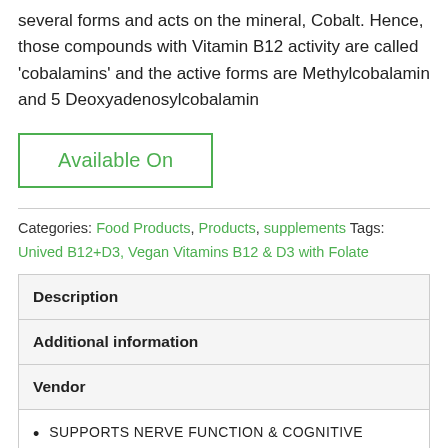several forms and acts on the mineral, Cobalt. Hence, those compounds with Vitamin B12 activity are called 'cobalamins' and the active forms are Methylcobalamin and 5 Deoxyadenosylcobalamin
Available On
Categories: Food Products, Products, supplements Tags: Unived B12+D3, Vegan Vitamins B12 & D3 with Folate
| Description |
| Additional information |
| Vendor |
| SUPPORTS NERVE FUNCTION & COGNITIVE |
SUPPORTS NERVE FUNCTION & COGNITIVE